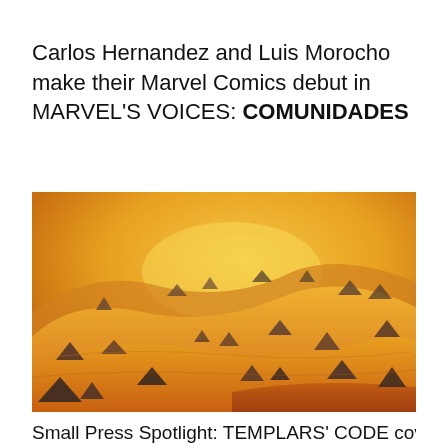Carlos Hernandez and Luis Morocho make their Marvel Comics debut in MARVEL'S VOICES: COMUNIDADES
[Figure (illustration): Illustrated desert scene with golden sand dunes, scattered dark rocks, and a bright sky with warm golden light. Animated/comic-book art style with orange and amber tones.]
Small Press Spotlight: TEMPLARS' CODE covers by